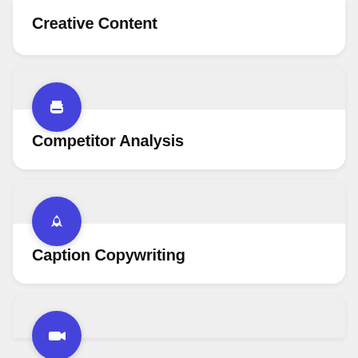Creative Content
[Figure (illustration): Blue circle icon with printer symbol]
Competitor Analysis
[Figure (illustration): Blue circle icon with rocket symbol]
Caption Copywriting
[Figure (illustration): Blue circle icon with video camera symbol (partially visible)]